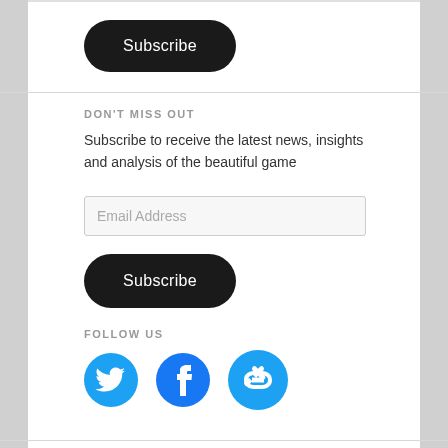[Figure (other): Subscribe button (dark rounded pill button with white text)]
DON'T MISS OUT
Subscribe to receive the latest news, insights and analysis of the beautiful game
[Figure (other): Email Address input field (light grey rectangle)]
[Figure (other): Subscribe button (dark rounded pill button with white text)]
FOLLOW US
[Figure (other): Social media icons: Twitter bird (blue), Facebook F circle (blue), chain link/tag icon (blue)]